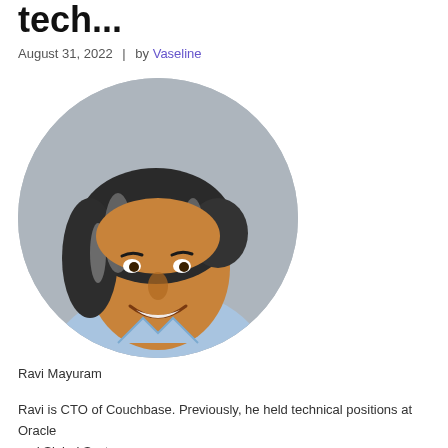tech...
August 31, 2022  |  by Vaseline
[Figure (photo): Circular portrait photo of Ravi Mayuram, a man with curly gray-black hair, smiling, wearing a light blue shirt, against a gray background.]
Ravi Mayuram
Ravi is CTO of Couchbase. Previously, he held technical positions at Oracle and Siebel Systems.